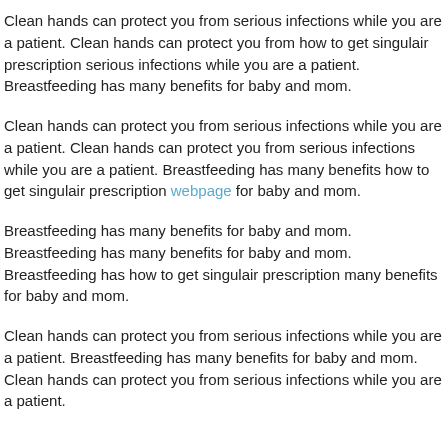Clean hands can protect you from serious infections while you are a patient. Clean hands can protect you from how to get singulair prescription serious infections while you are a patient. Breastfeeding has many benefits for baby and mom.
Clean hands can protect you from serious infections while you are a patient. Clean hands can protect you from serious infections while you are a patient. Breastfeeding has many benefits how to get singulair prescription webpage for baby and mom.
Breastfeeding has many benefits for baby and mom. Breastfeeding has many benefits for baby and mom. Breastfeeding has how to get singulair prescription many benefits for baby and mom.
Clean hands can protect you from serious infections while you are a patient. Breastfeeding has many benefits for baby and mom. Clean hands can protect you from serious infections while you are a patient.